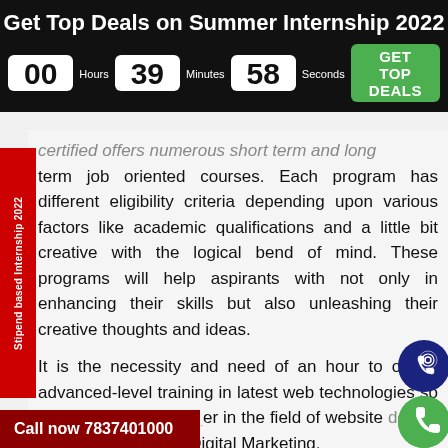Get Top Deals on Summer Internship 2022
00 Hours  39 Minutes  58 Seconds  GET TOP DEALS
certified offers numerous short term and long term job oriented courses. Each program has different eligibility criteria depending upon various factors like academic qualifications and a little bit creative with the logical bend of mind. These programs will help aspirants with not only in enhancing their skills but also unleashing their creative thoughts and ideas.
It is the necessity and need of an hour to obtain advanced-level training in latest web technologies so that one can have a career in the field of website design and development & Digital Marketing.
Call now 7837401000
Stipend based Internship 2022